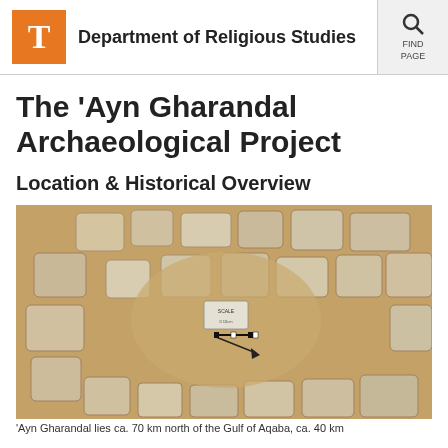Department of Religious Studies
The 'Ayn Gharandal Archaeological Project
Location & Historical Overview
[Figure (photo): Aerial or overhead view of an archaeological excavation site showing large limestone or sandstone blocks arranged in a roughly circular or curved pattern, with a measurement scale and label marker visible in the sandy soil between the stones.]
'Ayn Gharandal lies ca. 70 km north of the Gulf of Aqaba, ca. 40 km